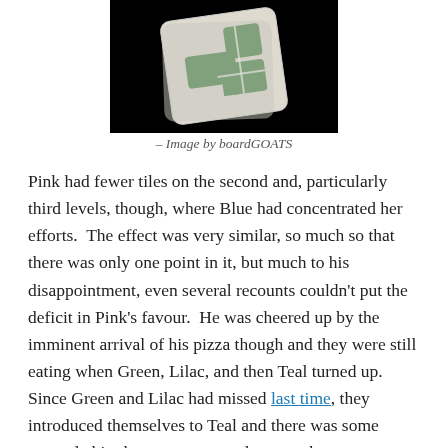[Figure (photo): A board game card with a green S-tetromino shape on a white/grey card background, photographed against a black background. The card is slightly tilted.]
– Image by boardGOATS
Pink had fewer tiles on the second and, particularly third levels, though, where Blue had concentrated her efforts.  The effect was very similar, so much so that there was only one point in it, but much to his disappointment, even several recounts couldn't put the deficit in Pink's favour.  He was cheered up by the imminent arrival of his pizza though and they were still eating when Green, Lilac, and then Teal turned up.  Since Green and Lilac had missed last time, they introduced themselves to Teal and there was some general chit-chat as everyone else turned up.